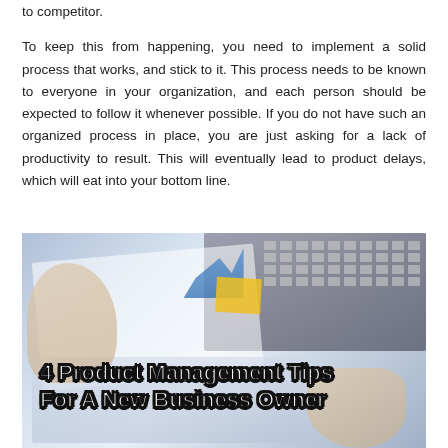to competitor.
To keep this from happening, you need to implement a solid process that works, and stick to it. This process needs to be known to everyone in your organization, and each person should be expected to follow it whenever possible. If you do not have such an organized process in place, you are just asking for a lack of productivity to result. This will eventually lead to product delays, which will eat into your bottom line.
[Figure (photo): Business desk photo showing hands, calculator, keyboard, papers and charts with overlaid bold text reading '4 Product Management Tips For A New Business Owner']